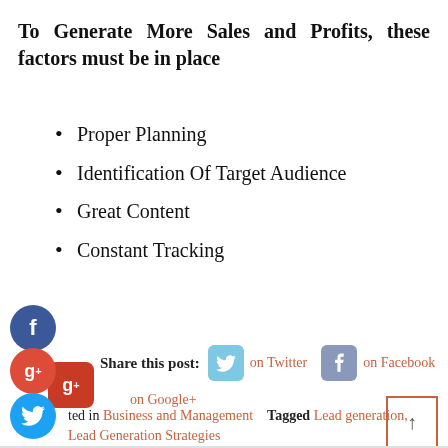To Generate More Sales and Profits, these factors must be in place
Proper Planning
Identification Of Target Audience
Great Content
Constant Tracking
Share this post: on Twitter on Facebook on Google+
ted in Business and Management  Tagged Lead generation, Lead Generation Strategies